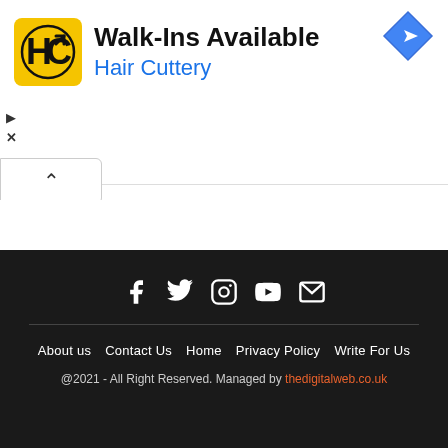[Figure (screenshot): Hair Cuttery advertisement banner: HC logo on yellow background, text 'Walk-Ins Available' and 'Hair Cuttery' in blue, with a Google Maps-style navigation icon on the right, small play and close icons on the left, and a collapse (chevron up) button below.]
About us  Contact Us  Home  Privacy Policy  Write For Us
@2021 - All Right Reserved. Managed by thedigitalweb.co.uk